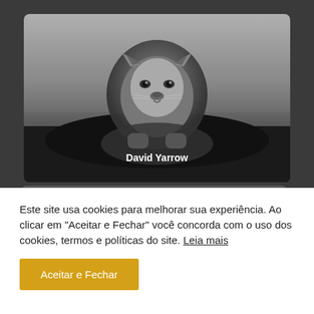[Figure (photo): Black and white photograph of a lion facing forward, with the text 'David Yarrow' overlaid at the bottom center, displayed inside a rounded card within a dark browser-like interface.]
Este site usa cookies para melhorar sua experiência. Ao clicar em "Aceitar e Fechar" você concorda com o uso dos cookies, termos e políticas do site. Leia mais
Aceitar e Fechar